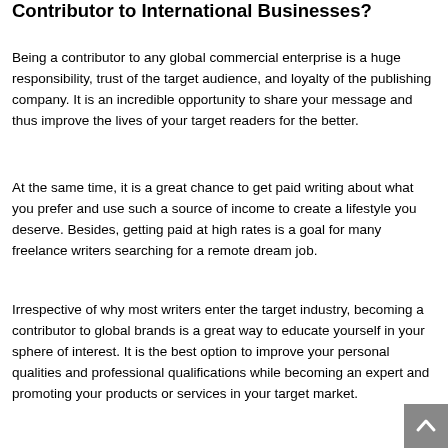Contributor to International Businesses?
Being a contributor to any global commercial enterprise is a huge responsibility, trust of the target audience, and loyalty of the publishing company. It is an incredible opportunity to share your message and thus improve the lives of your target readers for the better.
At the same time, it is a great chance to get paid writing about what you prefer and use such a source of income to create a lifestyle you deserve. Besides, getting paid at high rates is a goal for many freelance writers searching for a remote dream job.
Irrespective of why most writers enter the target industry, becoming a contributor to global brands is a great way to educate yourself in your sphere of interest. It is the best option to improve your personal qualities and professional qualifications while becoming an expert and promoting your products or services in your target market.